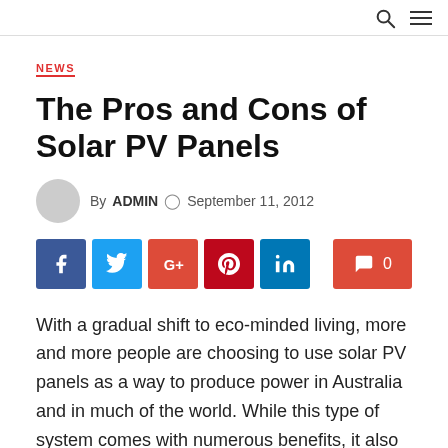NEWS
The Pros and Cons of Solar PV Panels
By ADMIN  September 11, 2012
[Figure (other): Social sharing buttons: Facebook, Twitter, Google+, Pinterest, LinkedIn, and a comment count button showing 0]
With a gradual shift to eco-minded living, more and more people are choosing to use solar PV panels as a way to produce power in Australia and in much of the world. While this type of system comes with numerous benefits, it also has its drawbacks. Let's now go over both the positives and negatives to give you a better